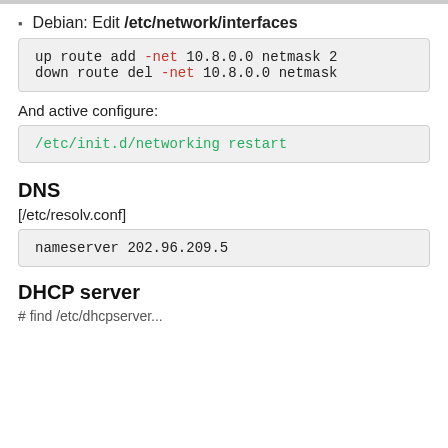Debian: Edit /etc/network/interfaces
up route add -net 10.8.0.0 netmask 2
down route del -net 10.8.0.0 netmask
And active configure:
/etc/init.d/networking restart
DNS
[/etc/resolv.conf]
nameserver 202.96.209.5
DHCP server
# find /etc/dhcpserver...